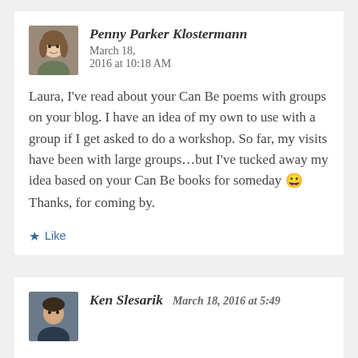[Figure (photo): Circular/rounded avatar photo of Penny Parker Klostermann, a woman with brown hair]
Penny Parker Klostermann   March 18, 2016 at 10:18 AM
Laura, I've read about your Can Be poems with groups on your blog. I have an idea of my own to use with a group if I get asked to do a workshop. So far, my visits have been with large groups...but I've tucked away my idea based on your Can Be books for someday 😀 Thanks, for coming by.
★ Like
[Figure (photo): Rounded avatar photo of Ken Slesarik, a man]
Ken Slesarik   March 18, 2016 at 5:49